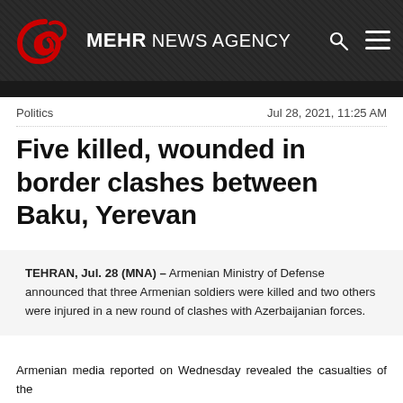MEHR NEWS AGENCY
Politics    Jul 28, 2021, 11:25 AM
Five killed, wounded in border clashes between Baku, Yerevan
TEHRAN, Jul. 28 (MNA) – Armenian Ministry of Defense announced that three Armenian soldiers were killed and two others were injured in a new round of clashes with Azerbaijanian forces.
Armenian media reported on Wednesday revealed the casualties of the